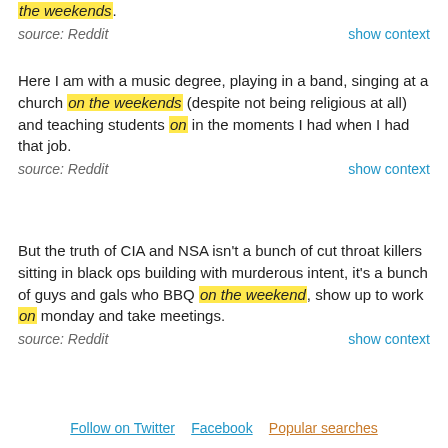the weekends.
source: Reddit
show context
Here I am with a music degree, playing in a band, singing at a church on the weekends (despite not being religious at all) and teaching students on in the moments I had when I had that job.
source: Reddit
show context
But the truth of CIA and NSA isn't a bunch of cut throat killers sitting in black ops building with murderous intent, it's a bunch of guys and gals who BBQ on the weekend, show up to work on monday and take meetings.
source: Reddit
show context
Follow on Twitter   Facebook   Popular searches